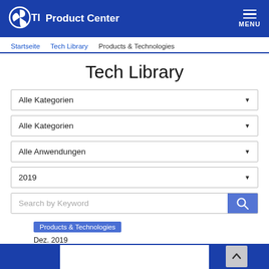TDK Product Center | MENU
Startseite / Tech Library / Products & Technologies
Tech Library
Alle Kategorien
Alle Kategorien
Alle Anwendungen
2019
Search by Keyword
Products & Technologies
Dez. 2019
[Produkt-Übersicht]
TDK-NTC Thermistoren -